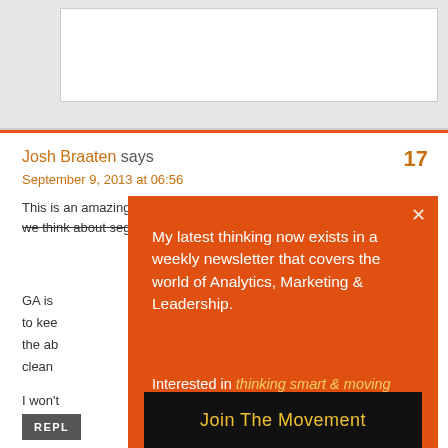[Figure (screenshot): Top gray area with white inner form/input box visible at the top of the page]
Josh Braaten says
September 9, 2013 at 06:56
17
This is an amazing new feature, requiring us to really change the way we think about segments. My head is swimming at the thought...
GA is... to keep... the ab... clean...
I won't... Thank...
[Figure (screenshot): Orange modal popup overlay with white text reading: My latest thinking now exists in a weekly newsletter that covers the world of Analytics, Marketing & Leadership. Interested in thinking smart & moving fast? With a dark Join The Movement button and an X close button.]